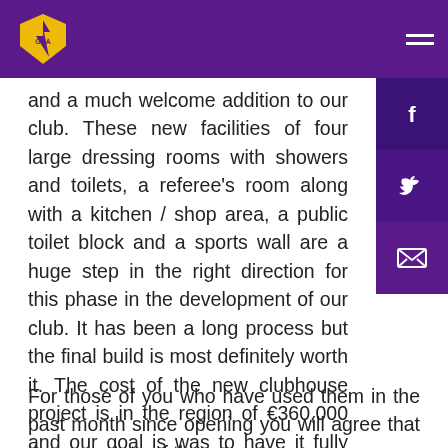and a much welcome addition to our club. These new facilities of four large dressing rooms with showers and toilets, a referee's room along with a kitchen / shop area, a public toilet block and a sports wall are a huge step in the right direction for this phase in the development of our club. It has been a long process but the final build is most definitely worth it. The cost of the new clubhouse project is in the region of €360,000 and our goal is was have it fully completed and operational by the beginning of the summer in time for the national feile camogie & hurling competition and this goal was achieved.
For those of you who have used them in the past month since opening you will agree that they are state of the art,